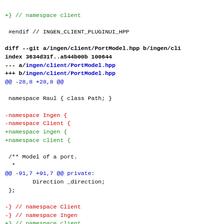+} // namespace client

 #endif // INGEN_CLIENT_PLUGINUI_HPP

diff --git a/ingen/client/PortModel.hpp b/ingen/client/PortModel.hpp
index 3634d31f..a544b00b 100644
--- a/ingen/client/PortModel.hpp
+++ b/ingen/client/PortModel.hpp
@@ -28,8 +28,8 @@

 namespace Raul { class Path; }

-namespace Ingen {
-namespace Client {
+namespace ingen {
+namespace client {

 /** Model of a port.
  *
@@ -91,7 +91,7 @@ private:
         Direction _direction;
 };

-} // namespace Client
-} // namespace Ingen
+} // namespace client
+} // namespace ingen

 #endif // INGEN_CLIENT_PORTMODEL_HPP